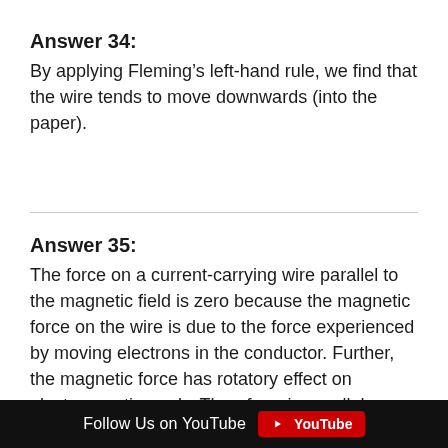Answer 34:
By applying Fleming’s left-hand rule, we find that the wire tends to move downwards (into the paper).
Answer 35:
The force on a current-carrying wire parallel to the magnetic field is zero because the magnetic force on the wire is due to the force experienced by moving electrons in the conductor. Further, the magnetic force has rotatory effect on electron motion only. Therefore, in parallel condition, this rotating
Follow Us on YouTube